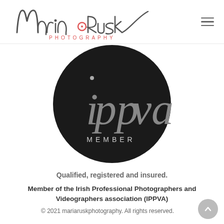[Figure (logo): Maria Rusk Photography handwritten script logo with pink accent on the letter O, followed by PHOTOGRAPHY in pink spaced capitals]
[Figure (logo): IPPVA Member badge — circular black badge with large grey italic 'ippva' letters and 'MEMBER' in white spaced capitals below]
Qualified, registered and insured.
Member of the Irish Professional Photographers and Videographers association (IPPVA)
© 2021 mariaruskphotography. All rights reserved.